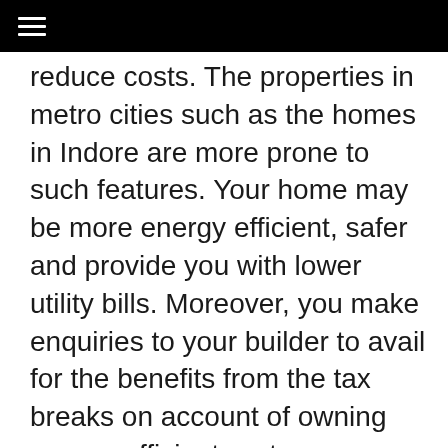≡
reduce costs. The properties in metro cities such as the homes in Indore are more prone to such features. Your home may be more energy efficient, safer and provide you with lower utility bills. Moreover, you make enquiries to your builder to avail for the benefits from the tax breaks on account of owning energy efficient systems.